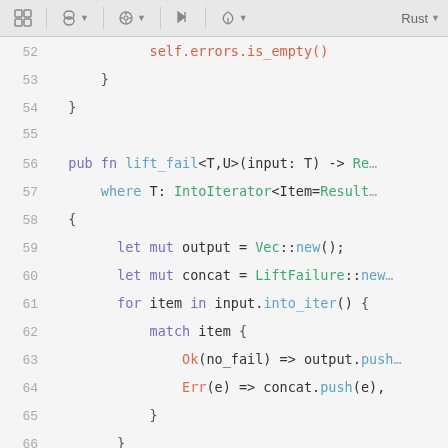[Figure (screenshot): IDE toolbar with icons for packages, object, settings, flags, leaf/run, and language selector showing Rust]
Code editor showing Rust source code lines 52-70, including self.errors.is_empty(), pub fn lift_fail<T,U>(input: T) -> Res..., where T: IntoIterator<Item=Result..., let mut output = Vec::new();, let mut concat = LiftFailure::new..., for item in input.into_iter() {, match item {, Ok(no_fail) => output.push..., Err(e) => concat.push(e),, }, }, if concat.is_empty() {, Ok(output), } else {